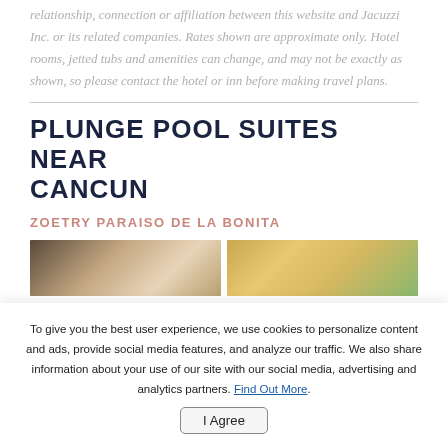relationship, connection or affiliation between this website and Jacuzzi Inc. or its related companies. Rates shown are approximate only. Hotel rooms, jetted tubs and amenities can change, and may not be exactly as shown, so please contact the hotel or inn before making travel plans.
PLUNGE POOL SUITES NEAR CANCUN
ZOETRY PARAISO DE LA BONITA
[Figure (photo): Two hotel room photos side by side showing interior room with mirror and outdoor/pool area with palm trees]
To give you the best user experience, we use cookies to personalize content and ads, provide social media features, and analyze our traffic. We also share information about your use of our site with our social media, advertising and analytics partners. Find Out More.
I Agree